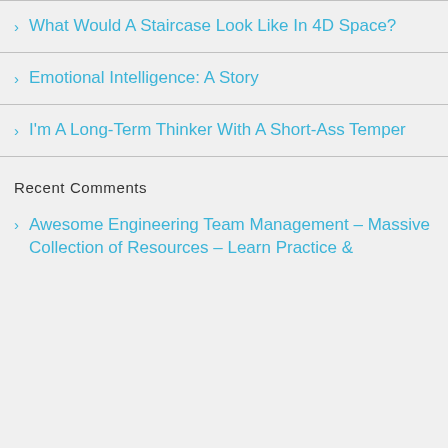What Would A Staircase Look Like In 4D Space?
Emotional Intelligence: A Story
I'm A Long-Term Thinker With A Short-Ass Temper
Recent Comments
Awesome Engineering Team Management – Massive Collection of Resources – Learn Practice &